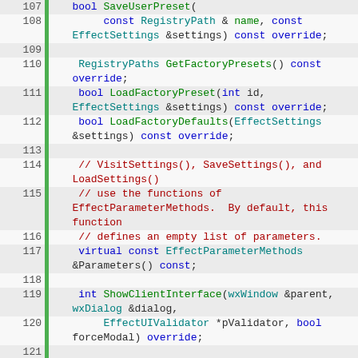[Figure (screenshot): C++ source code listing showing lines 107-128 with syntax highlighting. Line numbers on left with green gutter bar. Keywords in blue, function names in green, types in teal, comments in dark red.]